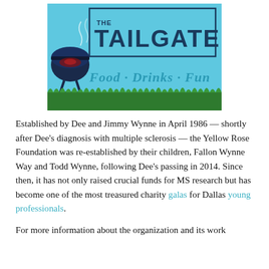[Figure (illustration): The Tailgate event logo on a light blue background with a barbecue grill illustration on the left and green grass at the bottom. Text reads 'THE TAILGATE' in bold dark blue and 'Food · Drinks · Fun' in cursive teal script.]
Established by Dee and Jimmy Wynne in April 1986 — shortly after Dee's diagnosis with multiple sclerosis — the Yellow Rose Foundation was re-established by their children, Fallon Wynne Way and Todd Wynne, following Dee's passing in 2014. Since then, it has not only raised crucial funds for MS research but has become one of the most treasured charity galas for Dallas young professionals.
For more information about the organization and its work